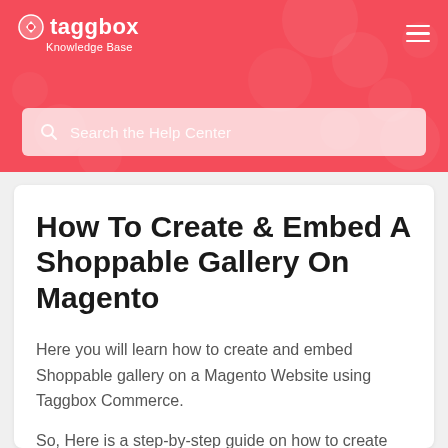taggbox Knowledge Base
Search the Help Center
How To Create & Embed A Shoppable Gallery On Magento
Here you will learn how to create and embed Shoppable gallery on a Magento Website using Taggbox Commerce.
So, Here is a step-by-step guide on how to create